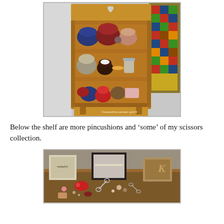[Figure (photo): A wooden shelf unit with a heart cutout on the top piece, holding multiple pincushions of various fabrics, colors and sizes arranged on three shelves. A colorful quilt is visible on the right side. Watermark reads 'sweetness painted quilt' with a heart symbol.]
Below the shelf are more pincushions and ‘some’ of my scissors collection.
[Figure (photo): A cluttered table surface below the shelf showing more pincushions, scissors, small boxes, needlework pieces, and various sewing notions and collectibles.]